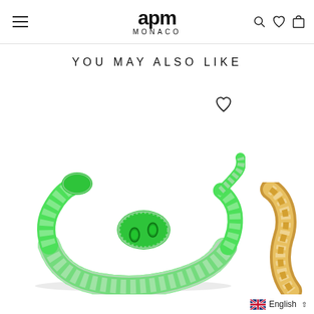apm MONACO
YOU MAY ALSO LIKE
[Figure (photo): Green enamel snake bracelet with silver crystal details and emerald green gemstone eyes, shown on white background]
[Figure (photo): Partial view of a gold twisted bracelet with diamond accents on right edge]